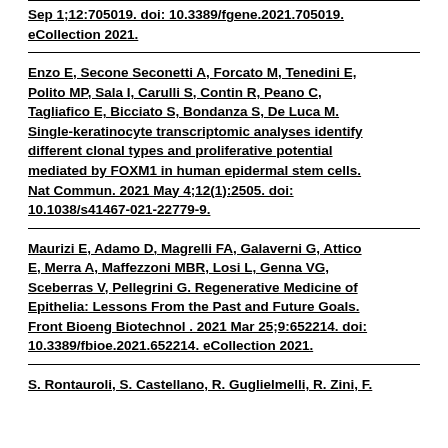Sep 1;12:705019. doi: 10.3389/fgene.2021.705019. eCollection 2021.
Enzo E, Secone Seconetti A, Forcato M, Tenedini E, Polito MP, Sala I, Carulli S, Contin R, Peano C, Tagliafico E, Bicciato S, Bondanza S, De Luca M. Single-keratinocyte transcriptomic analyses identify different clonal types and proliferative potential mediated by FOXM1 in human epidermal stem cells. Nat Commun. 2021 May 4;12(1):2505. doi: 10.1038/s41467-021-22779-9.
Maurizi E, Adamo D, Magrelli FA, Galaverni G, Attico E, Merra A, Maffezzoni MBR, Losi L, Genna VG, Sceberras V, Pellegrini G. Regenerative Medicine of Epithelia: Lessons From the Past and Future Goals. Front Bioeng Biotechnol . 2021 Mar 25;9:652214. doi: 10.3389/fbioe.2021.652214. eCollection 2021.
S. Rontauroli, S. Castellano, R. Guglielmelli, R. Zini, F. ...